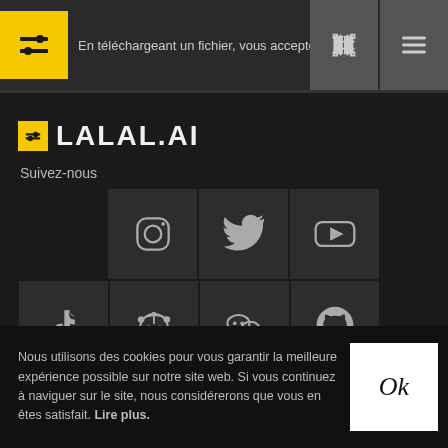En téléchargeant un fichier, vous acceptez notre Modalités de ...
LALAL.AI
Suivez-nous
[Figure (infographic): Social media icons grid: Instagram, Twitter, YouTube (top row), TikTok, Reddit, WeChat, GitHub (bottom row)]
Nous utilisons des cookies pour vous garantir la meilleure expérience possible sur notre site web. Si vous continuez à naviguer sur le site, nous considérerons que vous en êtes satisfait. Lire plus.